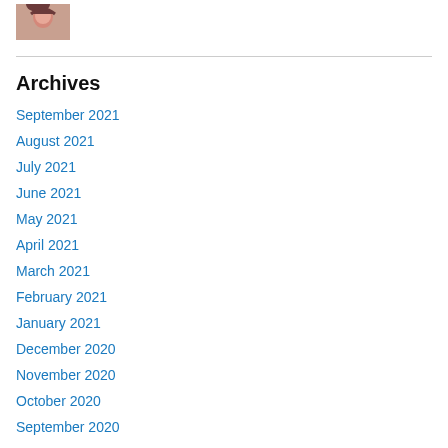[Figure (photo): Small profile photo of a woman with dark hair]
Archives
September 2021
August 2021
July 2021
June 2021
May 2021
April 2021
March 2021
February 2021
January 2021
December 2020
November 2020
October 2020
September 2020
August 2020
July 2020